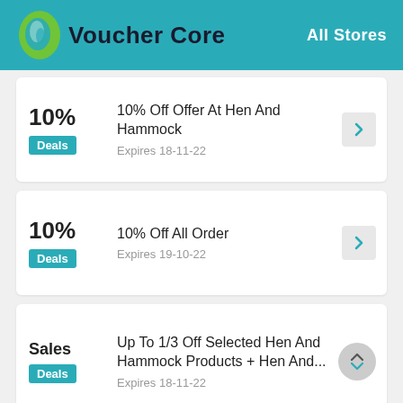Voucher Core — All Stores
10% — 10% Off Offer At Hen And Hammock — Deals — Expires 18-11-22
10% — 10% Off All Order — Deals — Expires 19-10-22
Sales — Up To 1/3 Off Selected Hen And Hammock Products + Hen And... — Deals — Expires 18-11-22